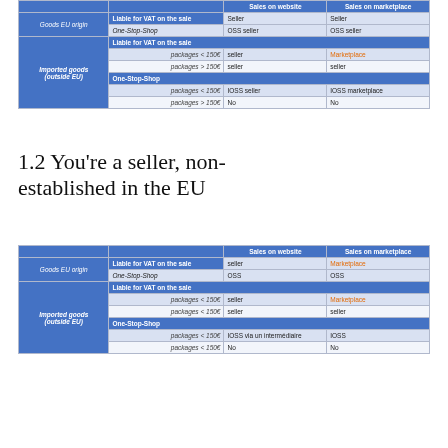|  |  | Sales on website | Sales on marketplace |
| --- | --- | --- | --- |
| Goods EU origin | Liable for VAT on the sale | Seller | Seller |
| Goods EU origin | One-Stop-Shop | OSS seller | OSS seller |
| Imported goods (outside EU) | Liable for VAT on the sale |  |  |
|  | packages < 150€ | seller | Marketplace |
|  | packages > 150€ | seller | seller |
|  | One-Stop-Shop |  |  |
|  | packages < 150€ | IOSS seller | IOSS marketplace |
|  | packages > 150€ | No | No |
1.2 You're a seller, non-established in the EU
|  |  | Sales on website | Sales on marketplace |
| --- | --- | --- | --- |
| Goods EU origin | Liable for VAT on the sale | seller | Marketplace |
| Goods EU origin | One-Stop-Shop | OSS | OSS |
| Imported goods (outside EU) | Liable for VAT on the sale |  |  |
|  | packages < 150€ | seller | Marketplace |
|  | packages < 150€ | seller | seller |
|  | One-Stop-Shop |  |  |
|  | packages < 150€ | IOSS via un intermédiaire | IOSS |
|  | packages < 150€ | No | No |